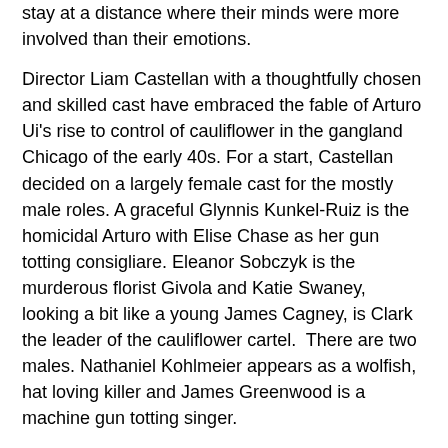stay at a distance where their minds were more involved than their emotions.
Director Liam Castellan with a thoughtfully chosen and skilled cast have embraced the fable of Arturo Ui's rise to control of cauliflower in the gangland Chicago of the early 40s. For a start, Castellan decided on a largely female cast for the mostly male roles. A graceful Glynnis Kunkel-Ruiz is the homicidal Arturo with Elise Chase as her gun totting consigliare. Eleanor Sobczyk is the murderous florist Givola and Katie Swaney, looking a bit like a young James Cagney, is Clark the leader of the cauliflower cartel.  There are two males. Nathaniel Kohlmeier appears as a wolfish, hat loving killer and James Greenwood is a machine gun totting singer.
The Resistible Rise of Arturo Ui begins with a directly artificial appeal to the audience. A tuxedo's Courtney Reid Harris jumps to a riser, pulls down a microphone and in ringside fight style introduces the show. Her artifice includes presenting the whole introduction in mock Shakespearean pentameter. By the way a practically unrecognizable Harris appears later as a drunken gang moll and still later as a crusading newspaper editor. Many times